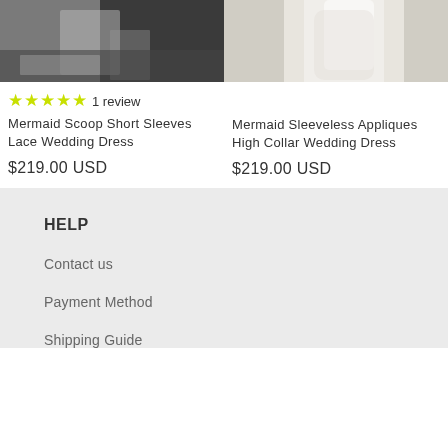[Figure (photo): Partial view of a mermaid lace wedding dress on dark background]
[Figure (photo): Partial view of a mermaid sleeveless wedding dress on light background]
★★★★★ 1 review
Mermaid Scoop Short Sleeves Lace Wedding Dress
$219.00 USD
Mermaid Sleeveless Appliques High Collar Wedding Dress
$219.00 USD
HELP
Contact us
Payment Method
Shipping Guide